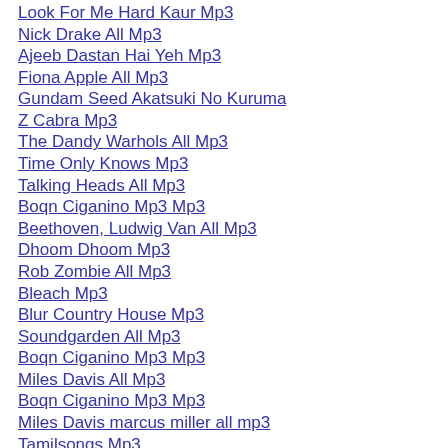Look For Me Hard Kaur Mp3
Nick Drake All Mp3
Ajeeb Dastan Hai Yeh Mp3
Fiona Apple All Mp3
Gundam Seed Akatsuki No Kuruma
Z Cabra Mp3
The Dandy Warhols All Mp3
Time Only Knows Mp3
Talking Heads All Mp3
Boqn Ciganino Mp3 Mp3
Beethoven, Ludwig Van All Mp3
Dhoom Dhoom Mp3
Rob Zombie All Mp3
Bleach Mp3
Blur Country House Mp3
Soundgarden All Mp3
Boqn Ciganino Mp3 Mp3
Miles Davis All Mp3
Boqn Ciganino Mp3 Mp3
Miles Davis marcus miller all mp3
Tamilsongs Mp3
Miles Davis And John Coltrane All M
Old Mappila Songs Mp3 Mp3
Miles Davis And Michel Legrand All
Billy Talent Mp3